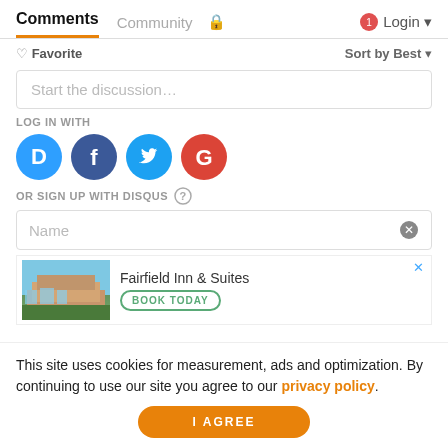Comments  Community  🔒  1  Login
♡ Favorite    Sort by Best
Start the discussion…
LOG IN WITH
[Figure (infographic): Social login icons: Disqus (blue), Facebook (dark blue), Twitter (light blue), Google (red)]
OR SIGN UP WITH DISQUS ?
Name
[Figure (photo): Advertisement for Fairfield Inn & Suites with hotel building photo and BOOK TODAY button]
This site uses cookies for measurement, ads and optimization. By continuing to use our site you agree to our privacy policy.
I AGREE